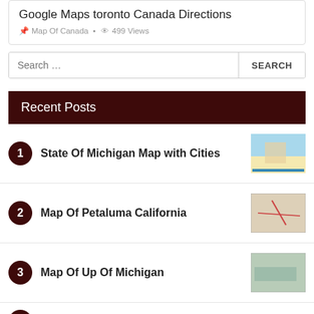Google Maps toronto Canada Directions
Map Of Canada • 499 Views
Search …
Recent Posts
1. State Of Michigan Map with Cities
2. Map Of Petaluma California
3. Map Of Up Of Michigan
4. (partial item cut off)